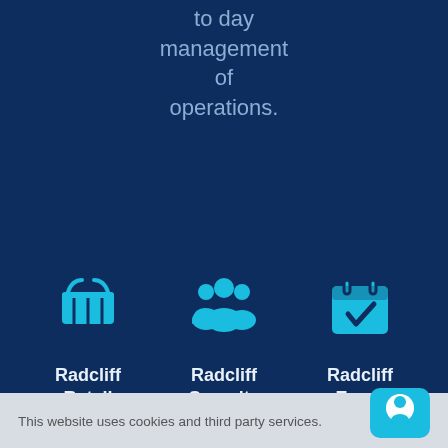to day management of operations.
[Figure (illustration): Shopping basket icon in cyan]
Radcliff Retail Security
[Figure (illustration): Group of people / users icon in cyan]
Radcliff Security Compa
[Figure (illustration): Calendar with checkmark icon in cyan]
Radcliff Event Secu
This website uses cookies and third party services.